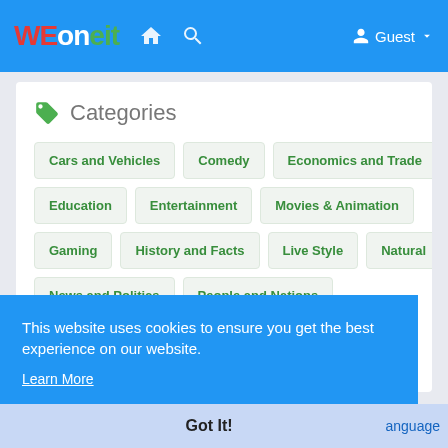WEoneit | navigation bar with home icon, search icon, Guest user
Categories
Cars and Vehicles
Comedy
Economics and Trade
Education
Entertainment
Movies & Animation
Gaming
History and Facts
Live Style
Natural
News and Politics
People and Nations
Pets and Animals
Places and Regions
This website uses cookies to ensure you get the best experience on our website. Learn More
Got It!